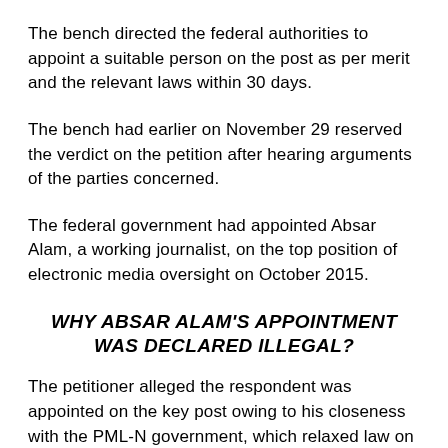The bench directed the federal authorities to appoint a suitable person on the post as per merit and the relevant laws within 30 days.
The bench had earlier on November 29 reserved the verdict on the petition after hearing arguments of the parties concerned.
The federal government had appointed Absar Alam, a working journalist, on the top position of electronic media oversight on October 2015.
WHY ABSAR ALAM'S APPOINTMENT WAS DECLARED ILLEGAL?
The petitioner alleged the respondent was appointed on the key post owing to his closeness with the PML-N government, which relaxed law on the qualification required